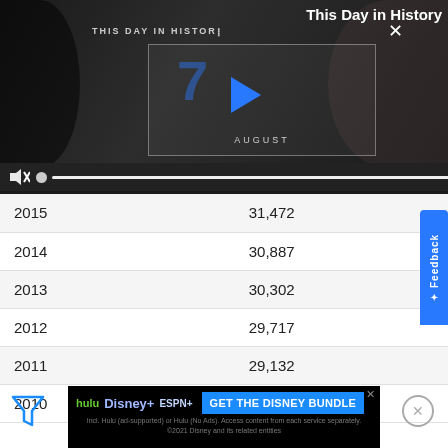[Figure (screenshot): A video player showing 'This Day in History' with August 7 thumbnail, play button, mute and progress controls]
| Year | Total | Change | % Change |
| --- | --- | --- | --- |
| 2015 | 31,472 | 585 | 1.89% |
| 2014 | 30,887 | 585 | 1.93% |
| 2013 | 30,302 | 585 | 1.97% |
| 2012 | 29,717 | 585 | 2.01% |
| 2011 | 29,132 | 585 | 2.05% |
| 2010 | 28,547 | 608 | 0.22% |
[Figure (screenshot): GET THE DISNEY BUNDLE advertisement banner with Hulu, Disney+, ESPN+ logos]